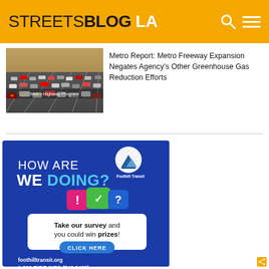STREETSBLOG LA
[Figure (photo): Aerial view of a congested freeway with many cars, labeled 'Metro Highway Program']
Metro Report: Metro Freeway Expansion Negates Agency's Other Greenhouse Gas Reduction Efforts
[Figure (infographic): Foothill Transit advertisement: 'HOW ARE WE DOING? Take our survey and you could win prizes! CLICK HERE. foothilltransit.org 1-800-RIDE-INFO (742-3463)']